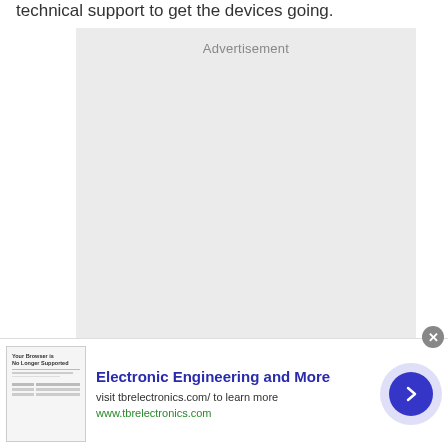technical support to get the devices going.
[Figure (other): Advertisement placeholder box with gray background and 'Advertisement' label at top]
[Figure (infographic): Bottom banner advertisement for TB Electronics showing 'Electronic Engineering and More', visit tbrelectronics.com/ to learn more, www.tbrelectronics.com, with a thumbnail image of a document and a blue arrow button]